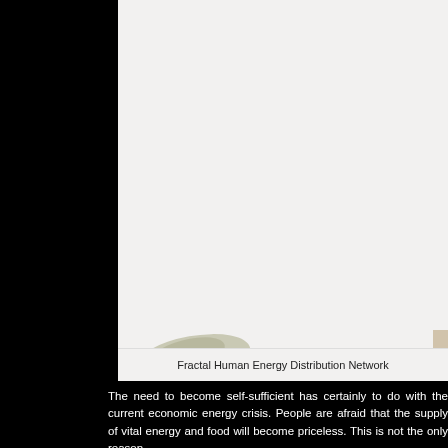[Figure (illustration): A large illustration panel with a light gray/off-white background showing what appears to be a Fractal Human Energy Distribution Network diagram. The bottom edge shows partial decorative organic/nature elements. The majority of the image area is blank/light-colored.]
Fractal Human Energy Distribution Network
The need to become self-sufficient has certainly to do with the current economic energy crisis. People are afraid that the supply of vital energy and food will become priceless. This is not the only reason.